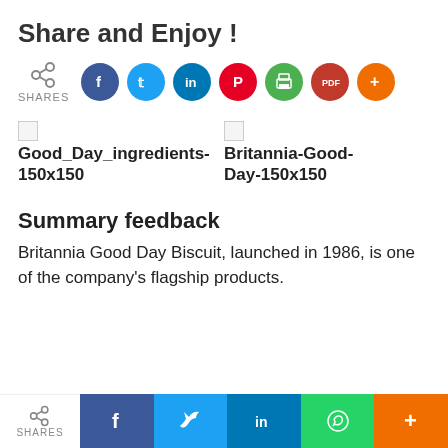Share and Enjoy !
[Figure (infographic): Share buttons row: share icon with SHARES label, followed by circular social media buttons: Facebook (blue), Twitter (light blue), LinkedIn (dark blue), Pinterest (red), Print (green), PDF (dark red), More/Plus (orange)]
[Figure (photo): Two broken image placeholders side by side: left labeled 'Good_Day_ingredients-150x150', right labeled 'Britannia-Good-Day-150x150']
Summary feedback
Britannia Good Day Biscuit, launched in 1986, is one of the company's flagship products.
[Figure (infographic): Bottom share bar with: SHARES label with share icon, Facebook button (blue), Twitter button (light blue), LinkedIn button (dark blue), WhatsApp button (green), More/Plus button (orange)]